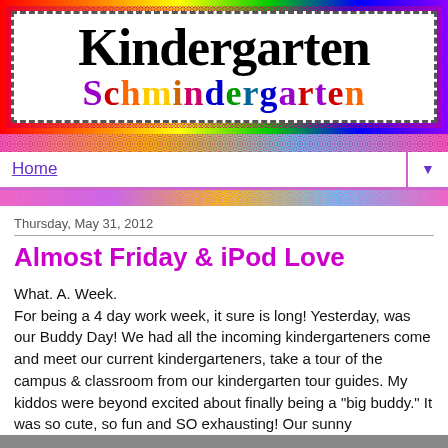[Figure (logo): Kindergarten Schmindergarten blog header banner with rainbow gradient border, polka dot background, and colorful decorative lettering on white background with dashed border]
Home
Thursday, May 31, 2012
Almost Friday & iPod Love
What. A. Week.
For being a 4 day work week, it sure is long! Yesterday, was our Buddy Day! We had all the incoming kindergarteners come and meet our current kindergarteners, take a tour of the campus & classroom from our kindergarten tour guides. My kiddos were beyond excited about finally being a "big buddy." It was so cute, so fun and SO exhausting! Our sunny